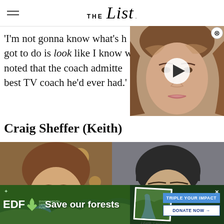THE List
'I'm not gonna know what's h got to do is look like I know w noted that the coach admitte best TV coach he'd ever had.'
[Figure (photo): Video thumbnail showing a woman's face with wavy brown hair, with a play button overlay]
Craig Sheffer (Keith)
[Figure (photo): Two side-by-side photos: left shows a man with brown hair (Craig Sheffer as Keith), right shows a man wearing sunglasses with dark hair]
[Figure (other): EDF advertisement banner: 'Save our forests' with TRIPLE YOUR IMPACT and DONATE NOW buttons]